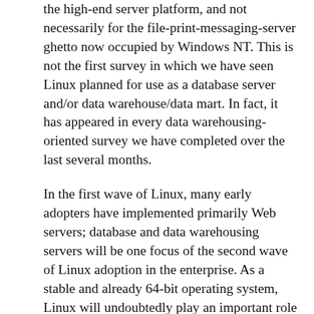the high-end server platform, and not necessarily for the file-print-messaging-server ghetto now occupied by Windows NT. This is not the first survey in which we have seen Linux planned for use as a database server and/or data warehouse/data mart. In fact, it has appeared in every data warehousing-oriented survey we have completed over the last several months.
In the first wave of Linux, many early adopters have implemented primarily Web servers; database and data warehousing servers will be one focus of the second wave of Linux adoption in the enterprise. As a stable and already 64-bit operating system, Linux will undoubtedly play an important role as an inexpensive database server, operational data store and data warehouse/data mart.
This analysis is further strengthened by survey